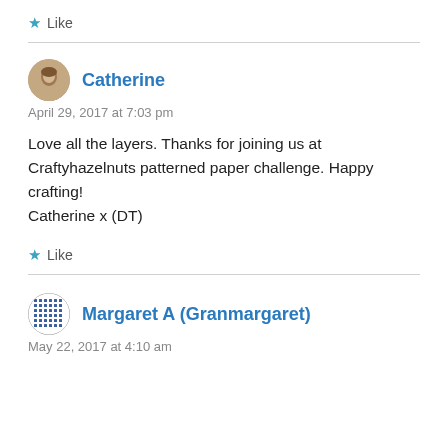★ Like
Catherine
April 29, 2017 at 7:03 pm
Love all the layers. Thanks for joining us at Craftyhazelnuts patterned paper challenge. Happy crafting!
Catherine x (DT)
★ Like
Margaret A (Granmargaret)
May 22, 2017 at 4:10 am